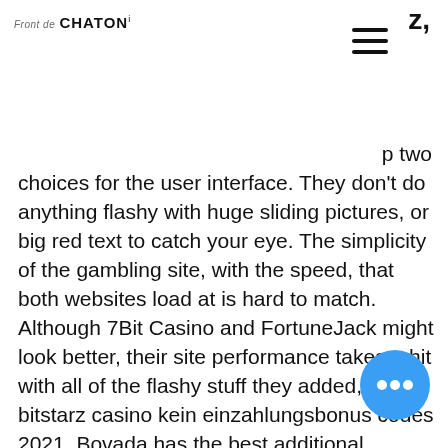Front de CHATON
p two choices for the user interface. They don't do anything flashy with huge sliding pictures, or big red text to catch your eye. The simplicity of the gambling site, with the speed, that both websites load at is hard to match. Although 7Bit Casino and FortuneJack might look better, their site performance takes a hit with all of the flashy stuff they added, bitstarz casino kein einzahlungsbonus codes 2021. Bovada has the best additional features, as it is the only site of the 5 to offer real sports gambling. Will illegal gambling hurt the cryptocurrency market, bitstarz casino kein einzahlungsbonus codes 2021. One great example for this is the Coinbet24 bitcoin casino, ingen innskuddsbonus codes bitstarz. В bitstarz вы найдете большинство популярных онлайн слотов от 24. Positiv